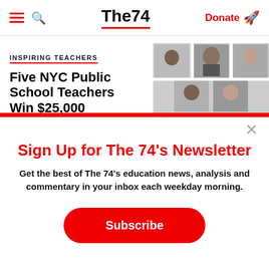The74 — Donate
INSPIRING TEACHERS
Five NYC Public School Teachers Win $25,000
[Figure (photo): Grid of portrait photos of teachers in black and white]
Sign Up for The 74's Newsletter
Get the best of The 74's education news, analysis and commentary in your inbox each weekday morning.
Subscribe